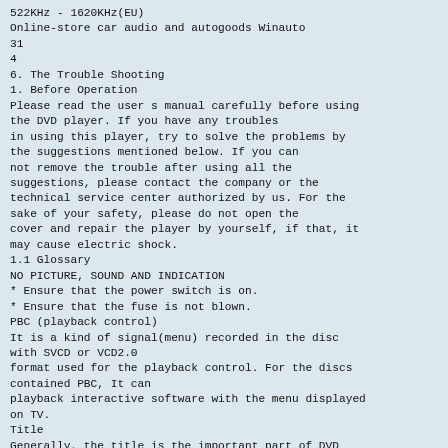522KHz - 1620KHz(EU)
Online-store car audio and autogoods Winauto
31
4
6. The Trouble Shooting
1. Before Operation
Please read the user s manual carefully before using the DVD player. If you have any troubles in using this player, try to solve the problems by the suggestions mentioned below. If you can not remove the trouble after using all the suggestions, please contact the company or the technical service center authorized by us. For the sake of your safety, please do not open the cover and repair the player by yourself, if that, it may cause electric shock.
1.1 Glossary
NO PICTURE, SOUND AND INDICATION
* Ensure that the power switch is on.
* Ensure that the fuse is not blown.
PBC (playback control)
It is a kind of signal(menu) recorded in the disc with SVCD or VCD2.0 format used for the playback control. For the discs contained PBC, It can playback interactive software with the menu displayed on TV.
Title
Generally, the title is the important part of DVD disc. for example, the theme part of movie is title 1, the part described how to make movie is title
2. (text continues below)